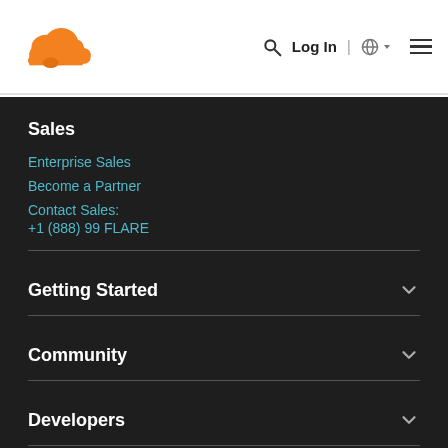[Figure (logo): Cloudflare orange cloud logo]
Log In | Globe icon | Hamburger menu
Sales
Enterprise Sales
Become a Partner
Contact Sales:
+1 (888) 99 FLARE
Getting Started
Community
Developers